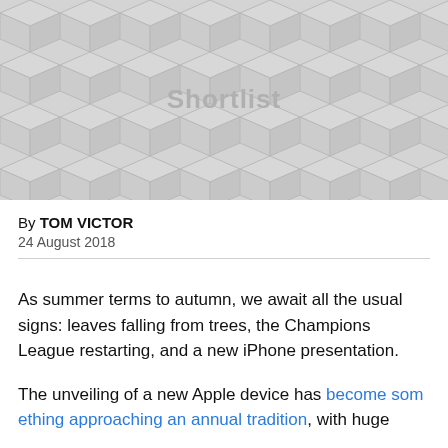[Figure (illustration): Decorative geometric cube pattern background with 'Shortlist' watermark text in the center]
By TOM VICTOR
24 August 2018
As summer terms to autumn, we await all the usual signs: leaves falling from trees, the Champions League restarting, and a new iPhone presentation.
The unveiling of a new Apple device has become something approaching an annual tradition, with huge